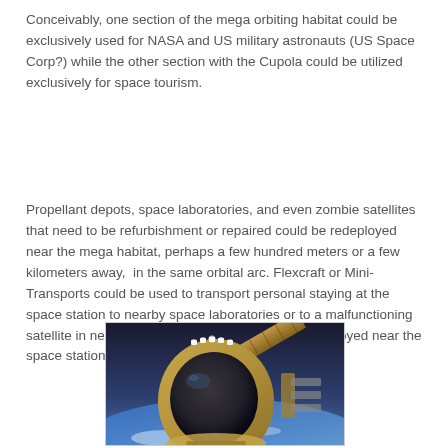Conceivably, one section of the mega orbiting habitat could be exclusively used for NASA and US military astronauts (US Space Corp?) while the other section with the Cupola could be utilized exclusively for space tourism.
Propellant depots, space laboratories, and even zombie satellites that need to be refurbishment or repaired could be redeployed near the mega habitat, perhaps a few hundred meters or a few kilometers away,  in the same orbital arc. Flexcraft or Mini-Transports could be used to transport personal staying at the space station to nearby space laboratories or to a malfunctioning satellite in need of repair that has recently been deployed near the space station.
[Figure (photo): A space suit helmet with visor, featuring lights on the top, with solar panels and Earth's surface visible in the background. Appears to be a rendering or concept art of a spacewalking astronaut near a space station.]